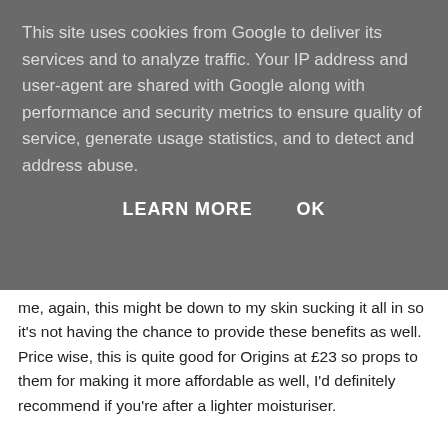This site uses cookies from Google to deliver its services and to analyze traffic. Your IP address and user-agent are shared with Google along with performance and security metrics to ensure quality of service, generate usage statistics, and to detect and address abuse.
LEARN MORE    OK
me, again, this might be down to my skin sucking it all in so it's not having the chance to provide these benefits as well. Price wise, this is quite good for Origins at £23 so props to them for making it more affordable as well, I'd definitely recommend if you're after a lighter moisturiser.
Have you given this a go?
Soph x
[Figure (photo): Close-up photo of a white product container/packaging with a pink circular dot or cap visible, likely a skincare product from Origins.]